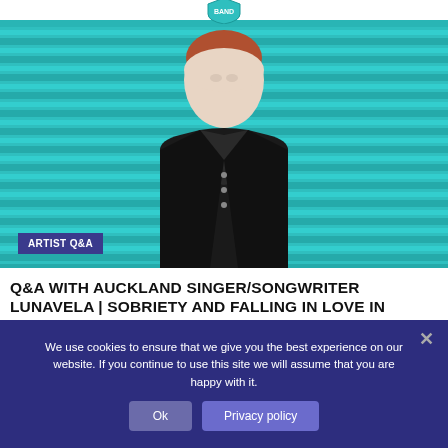[Figure (photo): Man in black leather jacket standing in front of a teal corrugated shutter/roller door background. Text overlay in bottom-left reads ARTIST Q&A in a dark blue/purple badge.]
Q&A WITH AUCKLAND SINGER/SONGWRITER LUNAVELA | SOBRIETY AND FALLING IN LOVE IN EARLY RECOVERY
We use cookies to ensure that we give you the best experience on our website. If you continue to use this site we will assume that you are happy with it.